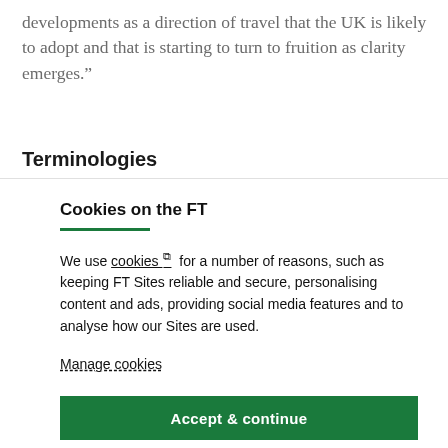developments as a direction of travel that the UK is likely to adopt and that is starting to turn to fruition as clarity emerges.”
Terminologies
Cookies on the FT
We use cookies ⧉ for a number of reasons, such as keeping FT Sites reliable and secure, personalising content and ads, providing social media features and to analyse how our Sites are used.
Manage cookies
Accept & continue